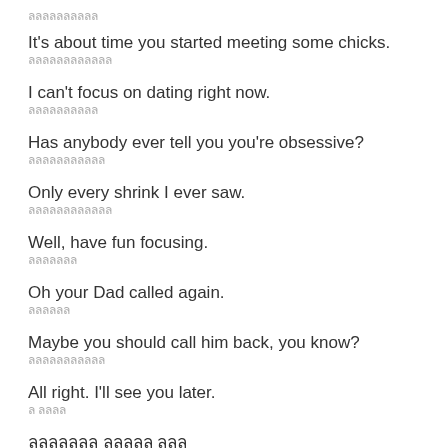ลลลลลลลลลล
It's about time you started meeting some chicks.
ลลลลลลลลลลลล
I can't focus on dating right now.
ลลลลลลลลลล
Has anybody ever tell you you're obsessive?
ลลลลลลลลลลล
Only every shrink I ever saw.
ลลลลลลลลลลลล
Well, have fun focusing.
ลลลลลลล
Oh your Dad called again.
ลลลลลล
Maybe you should call him back, you know?
ลลลลลลลลลลล
All right. I'll see you later.
ล ลลลล
ลลลลลลล ลลลลล ลลล